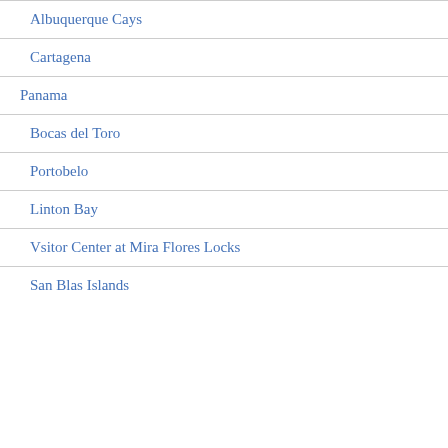Albuquerque Cays
Cartagena
Panama
Bocas del Toro
Portobelo
Linton Bay
Vsitor Center at Mira Flores Locks
San Blas Islands